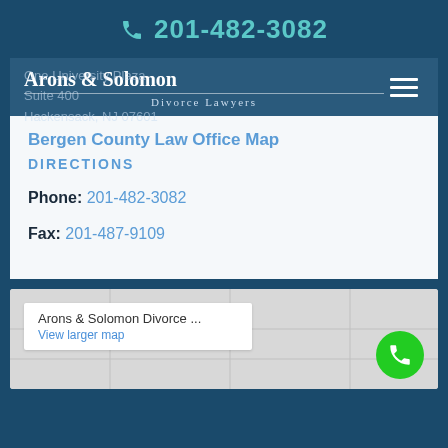201-482-3082
Arons & Solomon
Divorce Lawyers
One University Plaza
Suite 400
Hackensack, NJ 07601
Bergen County Law Office Map
DIRECTIONS
Phone: 201-482-3082
Fax: 201-487-9109
[Figure (screenshot): Google Maps embed showing map view with label box for Arons & Solomon Divorce, call button]
Arons & Solomon Divorce ...
View larger map